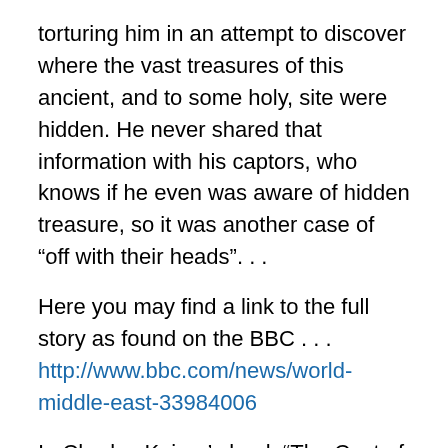torturing him in an attempt to discover where the vast treasures of this ancient, and to some holy, site were hidden. He never shared that information with his captors, who knows if he even was aware of hidden treasure, so it was another case of “off with their heads”. . .
Here you may find a link to the full story as found on the BBC . . .
http://www.bbc.com/news/world-middle-east-33984006
In Charles Kaiser’s book “The Cost of Courage” which I shared in yesterday’s post, Mr. Kaiser retells the story of the Vichy Parisian Mayor, Pierre-Charles Taittinger who, following the invasion of Normandy which was the telling realization for the Nazis that their time of Occupation in Paris, as well as all of France, was drawing dangerously to its finale, approached the Nazi’s high commander, General